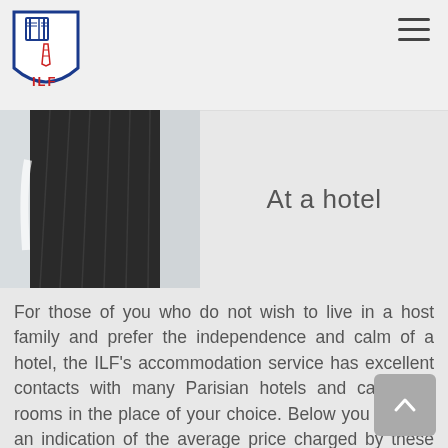[Figure (logo): ILF shield logo with book and Eiffel Tower icon, red and blue]
[Figure (photo): Close-up photo of a tall dark hotel building facade shot from below against a light sky]
At a hotel
For those of you who do not wish to live in a host family and prefer the independence and calm of a hotel, the ILF’s accommodation service has excellent contacts with many Parisian hotels and can book rooms in the place of your choice. Below you will find an indication of the average price charged by these organisations.